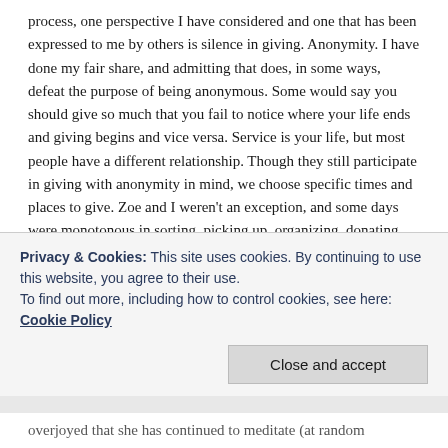process, one perspective I have considered and one that has been expressed to me by others is silence in giving. Anonymity. I have done my fair share, and admitting that does, in some ways, defeat the purpose of being anonymous. Some would say you should give so much that you fail to notice where your life ends and giving begins and vice versa. Service is your life, but most people have a different relationship. Though they still participate in giving with anonymity in mind, we choose specific times and places to give. Zoe and I weren't an exception, and some days were monotonous in sorting, picking up, organizing, donating, and dropping off (but this is essential to the process). I kept an activity log every day, but I stopped listing each day's activities to readers
Privacy & Cookies: This site uses cookies. By continuing to use this website, you agree to their use.
To find out more, including how to control cookies, see here: Cookie Policy
overjoyed that she has continued to meditate (at random